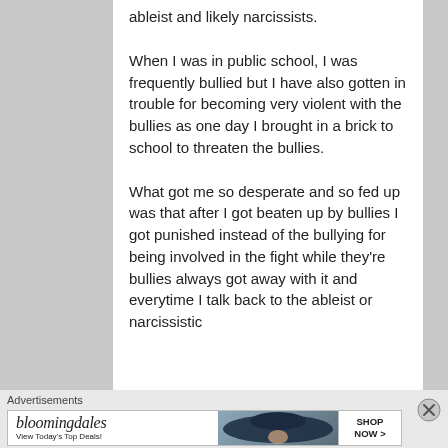ableist and likely narcissists.
When I was in public school, I was frequently bullied but I have also gotten in trouble for becoming very violent with the bullies as one day I brought in a brick to school to threaten the bullies.
What got me so desperate and so fed up was that after I got beaten up by bullies I got punished instead of the bullying for being involved in the fight while they're bullies always got away with it and everytime I talk back to the ableist or narcissistic
[Figure (other): Bloomingdale's advertisement banner: logo text 'bloomingdales', tagline 'View Today's Top Deals!', image of woman in large hat, and 'SHOP NOW >' button]